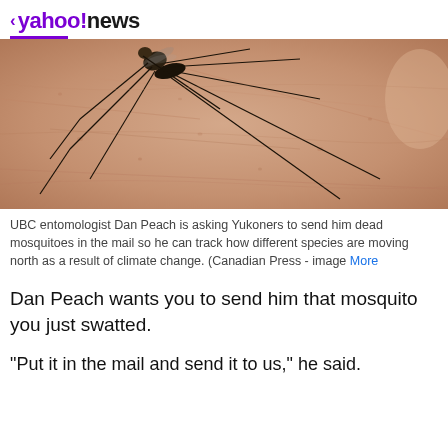< yahoo!news
[Figure (photo): Close-up macro photograph of a mosquito on human skin, showing the insect's legs and body in detail against pink/peach textured skin]
UBC entomologist Dan Peach is asking Yukoners to send him dead mosquitoes in the mail so he can track how different species are moving north as a result of climate change. (Canadian Press - image More
Dan Peach wants you to send him that mosquito you just swatted.
"Put it in the mail and send it to us," he said.